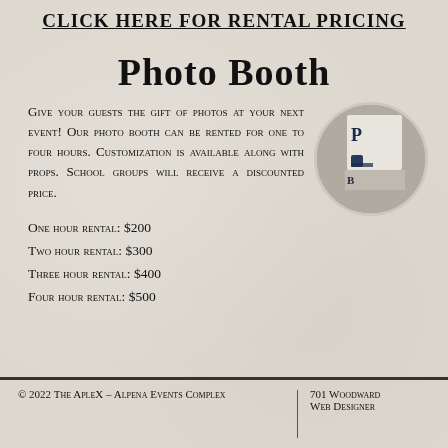CLICK HERE FOR RENTAL PRICING
Photo Booth
Give your guests the gift of photos at your next event! Our photo booth can be rented for one to four hours. Customization is available along with props. School groups will receive a discounted price.
One hour rental: $200
Two hour rental: $300
Three hour rental: $400
Four hour rental: $500
[Figure (photo): Circular cropped photo of a photo booth sign with partial text visible]
© 2022 THE APLEX - Alpena Events Complex | 701 Woodward  Web Designer
Web Designed By